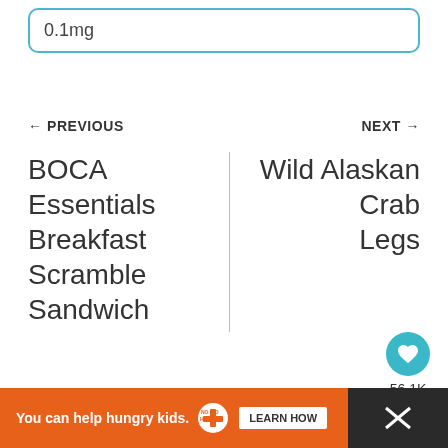0.1mg
← PREVIOUS
NEXT →
BOCA Essentials Breakfast Scramble Sandwich
Wild Alaskan Crab Legs
[Figure (other): Heart/like button with teal background showing 56.1K likes, and a share button below it]
56.1K
[Figure (infographic): Orange advertisement banner: 'You can help hungry kids.' with No Kid Hungry logo and LEARN HOW button]